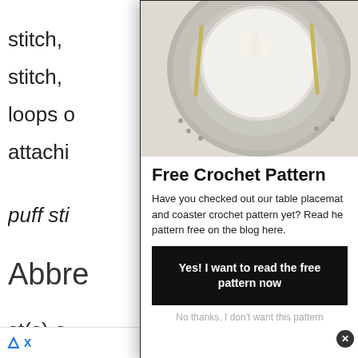stitch,
stitch,
loops o
attachi
puff sti
Abbre
st(s)-s
ch-cha
sc-sli
[Figure (photo): Overhead view of a crocheted table placemat (gray textured circular mat) with a white plate and gold cutlery on top, viewed from above on a light background.]
Free Crochet Pattern
Have you checked out our table placemat and coaster crochet pattern yet? Read he pattern free on the blog here.
Yes! I want to read the free pattern now
No thanks, I don't want this pattern